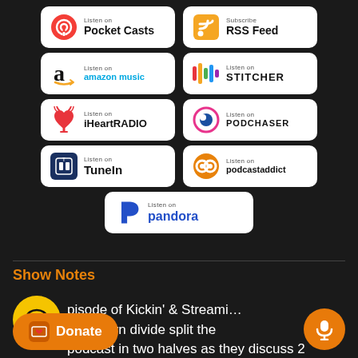[Figure (infographic): Podcast platform badge buttons: Pocket Casts, RSS Feed, Amazon Music, Stitcher, iHeartRadio, Podchaser, TuneIn, Podcast Addict, Pandora]
Show Notes
episode of Kickin' & Streami… & Jocelyn divide split the podcast in two halves as they discuss 2 Netflix